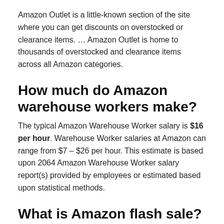Amazon Outlet is a little-known section of the site where you can get discounts on overstocked or clearance items. … Amazon Outlet is home to thousands of overstocked and clearance items across all Amazon categories.
How much do Amazon warehouse workers make?
The typical Amazon Warehouse Worker salary is $16 per hour. Warehouse Worker salaries at Amazon can range from $7 – $26 per hour. This estimate is based upon 2064 Amazon Warehouse Worker salary report(s) provided by employees or estimated based upon statistical methods.
What is Amazon flash sale?
The consumer affairs department describes a flash sale as